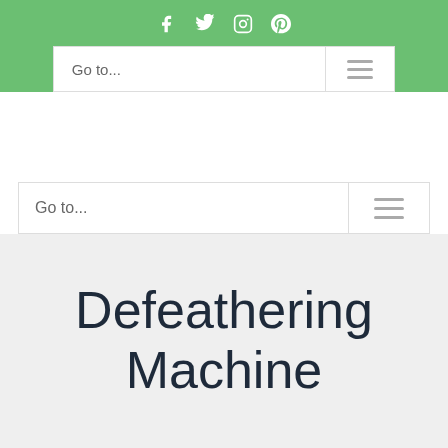Social icons: f (Facebook), Twitter, Instagram, Pinterest
[Figure (screenshot): Navigation bar with 'Go to...' label and hamburger menu icon on green background]
[Figure (screenshot): Second navigation bar with 'Go to...' label and hamburger menu icon on white background]
Defeathering Machine